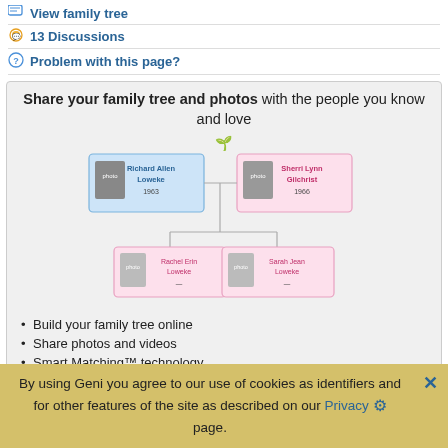View family tree
13 Discussions
Problem with this page?
Share your family tree and photos with the people you know and love
[Figure (organizational-chart): Family tree showing Richard Allen Loweke (1963) and Sherri Lynn Gilchrist (1966) as parents, with children Rachel Erin Loweke and Sarah Jean Loweke below]
Build your family tree online
Share photos and videos
Smart Matching™ technology
Free!
By using Geni you agree to our use of cookies as identifiers and for other features of the site as described on our Privacy page.